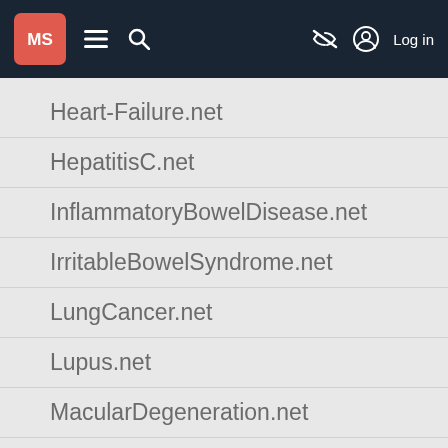MS [logo] | MultipleSclerosis.net navigation bar with menu, search, accessibility, and log in
Heart-Failure.net
HepatitisC.net
InflammatoryBowelDisease.net
IrritableBowelSyndrome.net
LungCancer.net
Lupus.net
MacularDegeneration.net
Migraine.com
MultipleSclerosis.net
Myasthenia-Gravis.com
Neuromyelitis-Optica.net
ParkinsonsDisease.net